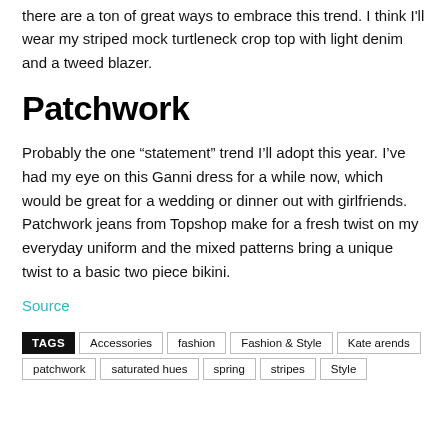there are a ton of great ways to embrace this trend. I think I'll wear my striped mock turtleneck crop top with light denim and a tweed blazer.
Patchwork
Probably the one “statement” trend I’ll adopt this year. I’ve had my eye on this Ganni dress for a while now, which would be great for a wedding or dinner out with girlfriends. Patchwork jeans from Topshop make for a fresh twist on my everyday uniform and the mixed patterns bring a unique twist to a basic two piece bikini.
Source
TAGS  Accessories  fashion  Fashion & Style  Kate arends  patchwork  saturated hues  spring  stripes  Style